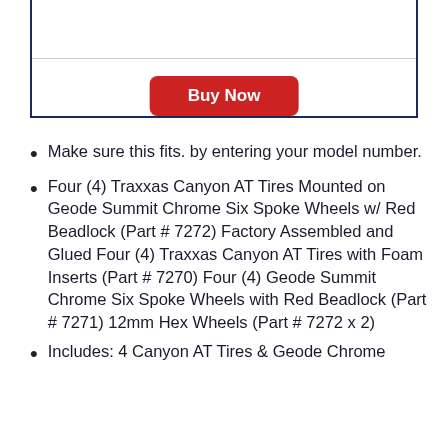[Figure (other): Buy Now button inside a dark navy border box]
Make sure this fits. by entering your model number.
Four (4) Traxxas Canyon AT Tires Mounted on Geode Summit Chrome Six Spoke Wheels w/ Red Beadlock (Part # 7272) Factory Assembled and Glued Four (4) Traxxas Canyon AT Tires with Foam Inserts (Part # 7270) Four (4) Geode Summit Chrome Six Spoke Wheels with Red Beadlock (Part # 7271) 12mm Hex Wheels (Part # 7272 x 2)
Includes: 4 Canyon AT Tires & Geode Chrome